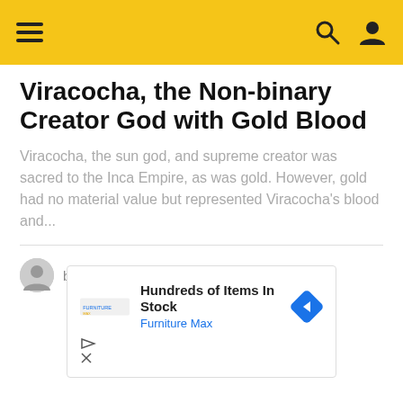Navigation header with hamburger menu, search, and user icons
Viracocha, the Non-binary Creator God with Gold Blood
Viracocha, the sun god, and supreme creator was sacred to the Inca Empire, as was gold. However, gold had no material value but represented Viracocha's blood and...
by Ancient Code Team 4 months ago
[Figure (infographic): Advertisement banner: Hundreds of Items In Stock - Furniture Max with logo and navigation arrow icon]